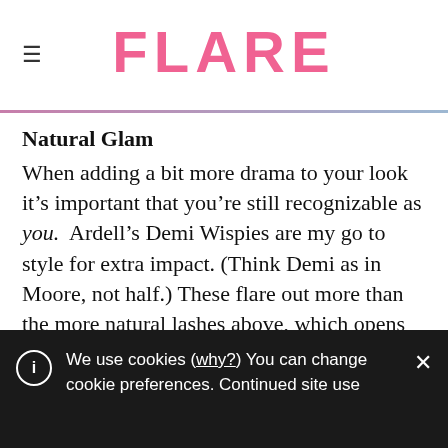FLARE
Natural Glam
When adding a bit more drama to your look it’s important that you’re still recognizable as you. Ardell’s Demi Wispies are my go to style for extra impact. (Think Demi as in Moore, not half.) These flare out more than the more natural lashes above, which opens up the eye and is flattering for all eye shapes. Plus, they’re versatile enough to be
We use cookies (why?) You can change cookie preferences. Continued site use